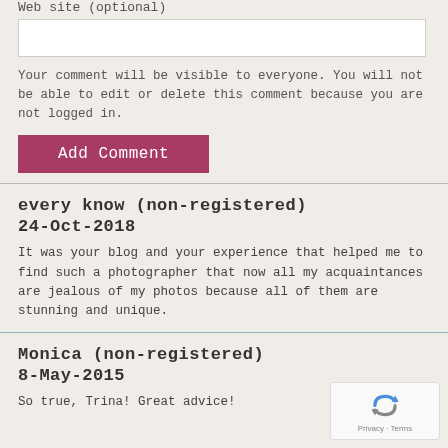Web site (optional)
Your comment will be visible to everyone. You will not be able to edit or delete this comment because you are not logged in.
Add Comment
every know (non-registered)
24-Oct-2018
It was your blog and your experience that helped me to find such a photographer that now all my acquaintances are jealous of my photos because all of them are stunning and unique.
Monica (non-registered)
8-May-2015
So true, Trina! Great advice!